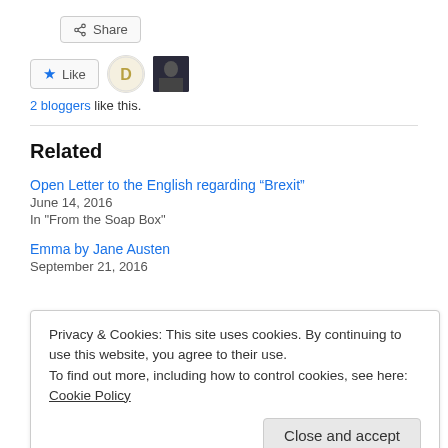[Figure (other): Share button with share icon]
[Figure (other): Like button with star icon and two blogger avatar images]
2 bloggers like this.
Related
Open Letter to the English regarding “Brexit”
June 14, 2016
In "From the Soap Box"
Emma by Jane Austen
September 21, 2016
Privacy & Cookies: This site uses cookies. By continuing to use this website, you agree to their use.
To find out more, including how to control cookies, see here: Cookie Policy
Close and accept
August 16, 2016
6 Replies